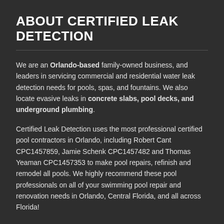ABOUT CERTIFIED LEAK DETECTION
We are an Orlando-based family-owned business, and leaders in servicing commercial and residential water leak detection needs for pools, spas, and fountains. We also locate evasive leaks in concrete slabs, pool decks, and underground plumbing.
Certified Leak Detection uses the most professional certified pool contractors in Orlando, including Robert Cant CPC1457859, Jamie Schenk CPC1457482 and Thomas Yeaman CPC1457353 to make pool repairs, refinish and remodel all pools. We highly recommend these pool professionals on all of your swimming pool repair and renovation needs in Orlando, Central Florida, and all across Florida!
CALL NOW